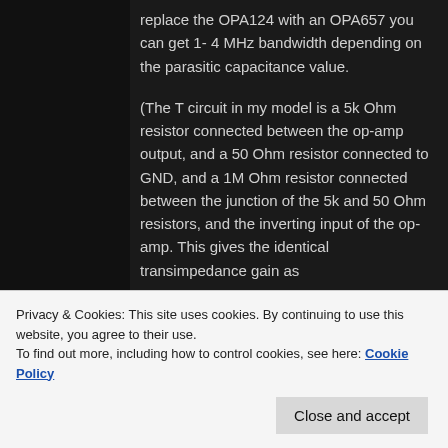replace the OPA124 with an OPA657 you can get 1- 4 MHz bandwidth depending on the parasitic capacitance value.
(The T circuit in my model is a 5k Ohm resistor connected between the op-amp output, and a 50 Ohm resistor connected to GND, and a 1M Ohm resistor connected between the junction of the 5k and 50 Ohm resistors, and the inverting input of the op-amp. This gives the identical transimpedance gain as
Privacy & Cookies: This site uses cookies. By continuing to use this website, you agree to their use.
To find out more, including how to control cookies, see here: Cookie Policy
RMS (equivalent to 5pA RMS) for